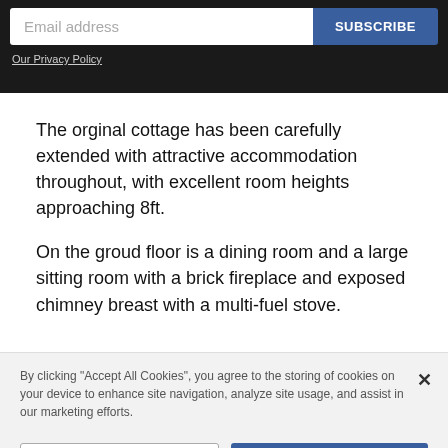[Figure (screenshot): Email subscription form with input field labeled 'Email address' and a blue 'SUBSCRIBE' button, on dark background. Below is an 'Our Privacy Policy' link.]
Our Privacy Policy
The orginal cottage has been carefully extended with attractive accommodation throughout, with excellent room heights approaching 8ft.
On the groud floor is a dining room and a large sitting room with a brick fireplace and exposed chimney breast with a multi-fuel stove.
By clicking "Accept All Cookies", you agree to the storing of cookies on your device to enhance site navigation, analyze site usage, and assist in our marketing efforts.